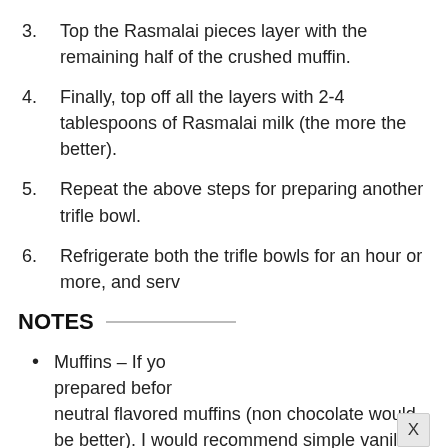3. Top the Rasmalai pieces layer with the remaining half of the crushed muffin.
4. Finally, top off all the layers with 2-4 tablespoons of Rasmalai milk (the more the better).
5. Repeat the above steps for preparing another trifle bowl.
6. Refrigerate both the trifle bowls for an hour or more, and serv
NOTES
Muffins – If yo prepared befor neutral flavored muffins (non chocolate would be better). I would recommend simple vanilla